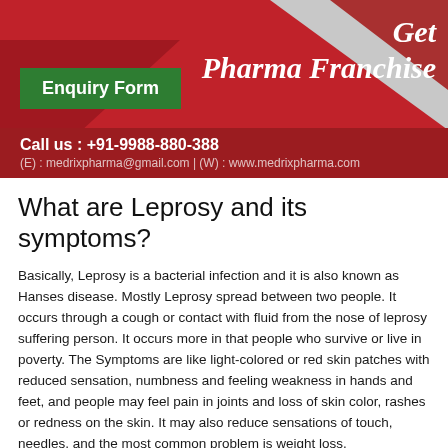[Figure (infographic): Red banner with geometric shapes, 'Get Pharma Franchise' text in italic white, green 'Enquiry Form' button, phone number +91-9988-880-388, email medrixpharma@gmail.com and website www.medrixpharma.com]
What are Leprosy and its symptoms?
Basically, Leprosy is a bacterial infection and it is also known as Hanses disease. Mostly Leprosy spread between two people. It occurs through a cough or contact with fluid from the nose of leprosy suffering person. It occurs more in that people who survive or live in poverty. The Symptoms are like light-colored or red skin patches with reduced sensation, numbness and feeling weakness in hands and feet, and people may feel pain in joints and loss of skin color, rashes or redness on the skin. It may also reduce sensations of touch, needles, and the most common problem is weight loss.